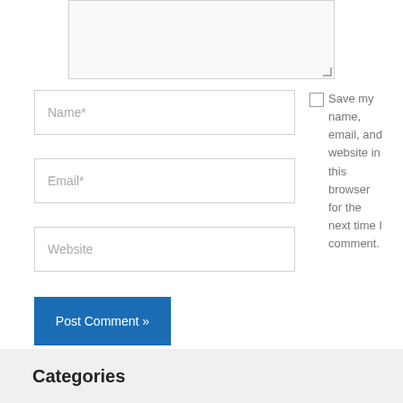[Figure (screenshot): Textarea input field (comment box) at the top, partially visible]
Name*
Email*
Website
Save my name, email, and website in this browser for the next time I comment.
Post Comment »
Categories